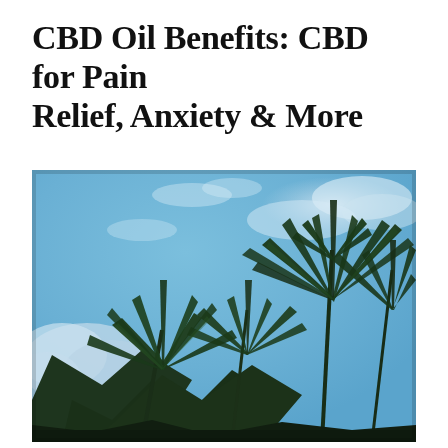CBD Oil Benefits: CBD for Pain Relief, Anxiety & More
[Figure (photo): Upward-angle photograph of cannabis/hemp plants with characteristic serrated leaves silhouetted against a partly cloudy blue sky. The plants fill the lower and right portions of the image, with bright blue sky and white clouds visible above.]